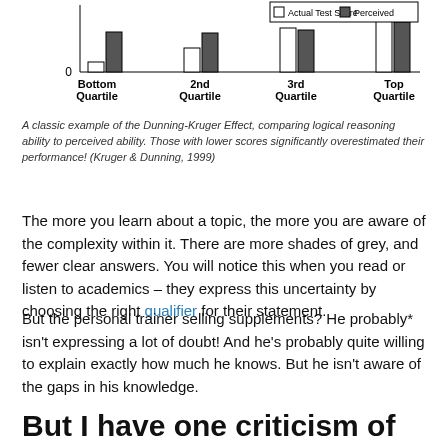[Figure (grouped-bar-chart): Actual vs Perceived ability]
A classic example of the Dunning-Kruger Effect, comparing logical reasoning ability to perceived ability. Those with lower scores significantly overestimated their performance! (Kruger & Dunning, 1999)
The more you learn about a topic, the more you are aware of the complexity within it. There are more shades of grey, and fewer clear answers. You will notice this when you read or listen to academics – they express this uncertainty by choosing the right qualifier for their statement.
But the personal trainer selling supplements? He probably* isn't expressing a lot of doubt! And he's probably quite willing to explain exactly how much he knows. But he isn't aware of the gaps in his knowledge.
But I have one criticism of the